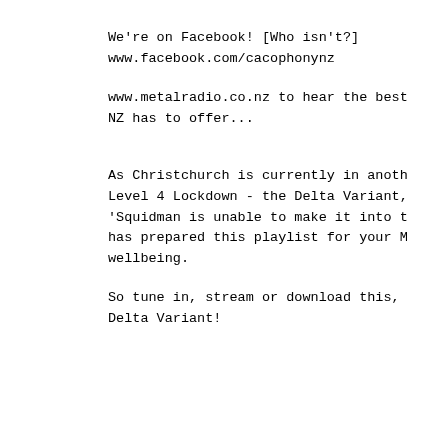We're on Facebook! [Who isn't?]
www.facebook.com/cacophonynz
www.metalradio.co.nz to hear the best NZ has to offer...
As Christchurch is currently in another Level 4 Lockdown - the Delta Variant, 'Squidman is unable to make it into the studio but has prepared this playlist for your Metal wellbeing.
So tune in, stream or download this, and defeat the Delta Variant!